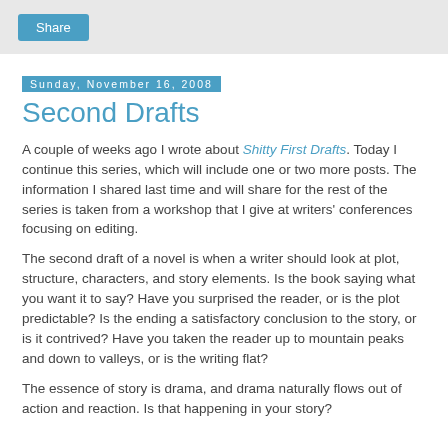[Figure (other): Share button bar at top of page]
Sunday, November 16, 2008
Second Drafts
A couple of weeks ago I wrote about Shitty First Drafts. Today I continue this series, which will include one or two more posts. The information I shared last time and will share for the rest of the series is taken from a workshop that I give at writers' conferences focusing on editing.
The second draft of a novel is when a writer should look at plot, structure, characters, and story elements. Is the book saying what you want it to say? Have you surprised the reader, or is the plot predictable? Is the ending a satisfactory conclusion to the story, or is it contrived? Have you taken the reader up to mountain peaks and down to valleys, or is the writing flat?
The essence of story is drama, and drama naturally flows out of action and reaction. Is that happening in your story?